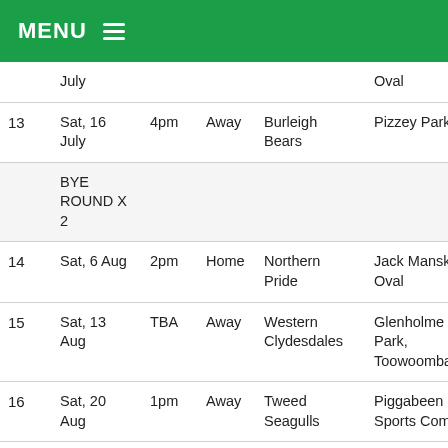MENU
| Round | Date | Time | H/A | Opponent | Venue |
| --- | --- | --- | --- | --- | --- |
|  | July |  |  |  | Oval |
| 13 | Sat, 16 July | 4pm | Away | Burleigh Bears | Pizzey Park |
|  | BYE ROUND X 2 |  |  |  |  |
| 14 | Sat, 6 Aug | 2pm | Home | Northern Pride | Jack Manski Oval |
| 15 | Sat, 13 Aug | TBA | Away | Western Clydesdales | Glenholme Park, Toowoomba |
| 16 | Sat, 20 Aug | 1pm | Away | Tweed Seagulls | Piggabeen Sports Complex |
| 17 | Sat, 27 | 2.40pm | Away | Norths | Bishop Park |